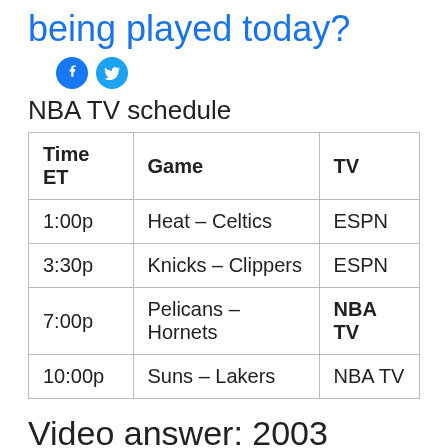being played today?
[Figure (other): Facebook and Twitter social media icons]
NBA TV schedule
| Time ET | Game | TV |
| --- | --- | --- |
| 1:00p | Heat – Celtics | ESPN |
| 3:30p | Knicks – Clippers | ESPN |
| 7:00p | Pelicans – Hornets | NBA TV |
| 10:00p | Suns – Lakers | NBA TV |
Video answer: 2003 playoffs magic vs pistons - game2 - part 1